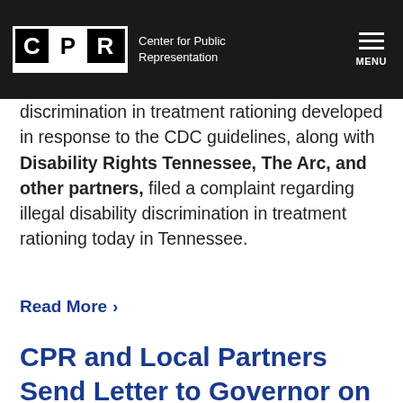CPR — Center for Public Representation
discrimination in treatment rationing developed in response to the CDC guidelines, along with Disability Rights Tennessee, The Arc, and other partners, filed a complaint regarding illegal disability discrimination in treatment rationing today in Tennessee.
Read More ▶
CPR and Local Partners Send Letter to Governor on Need for Statewide Guidelines Preventing Discriminatory Allocation of Life-saving Medical Care